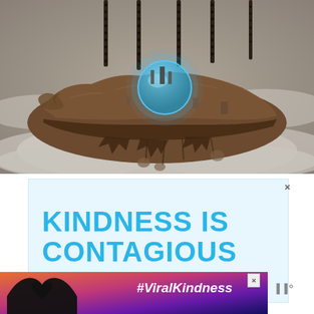[Figure (illustration): A fantasy floating island/rock with a futuristic city on top including a glowing dome, connected to dark chain-like pillars hanging from above, floating above clouds. Digital art / sci-fi concept art.]
[Figure (infographic): Advertisement banner with light blue background and bold cyan text reading 'KINDNESS IS CONTAGIOUS' with a close (x) button in the top right corner.]
KINDNESS IS CONTAGIOUS
[Figure (infographic): Bottom advertisement bar showing silhouette of hands forming a heart shape against a colorful sunset background, with text '#ViralKindness' in white italic, a close button, and a logo on the right.]
#ViralKindness